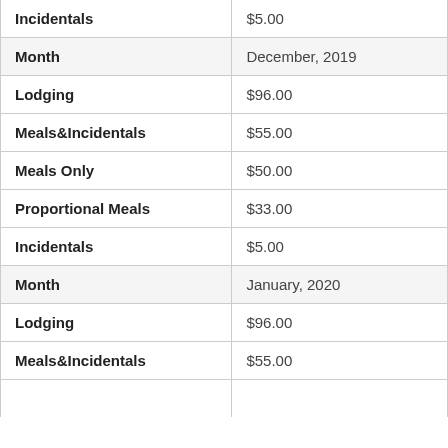| Field | Value |
| --- | --- |
| Incidentals | $5.00 |
| Month | December, 2019 |
| Lodging | $96.00 |
| Meals&Incidentals | $55.00 |
| Meals Only | $50.00 |
| Proportional Meals | $33.00 |
| Incidentals | $5.00 |
| Month | January, 2020 |
| Lodging | $96.00 |
| Meals&Incidentals | $55.00 |